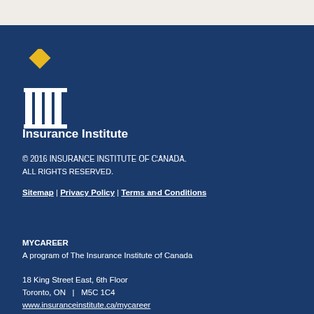[Figure (logo): Insurance Institute of Canada logo: gold diamond above white classical column pillars]
Insurance Institute
© 2016 INSURANCE INSTITUTE OF CANADA. ALL RIGHTS RESERVED.
Sitemap | Privacy Policy | Terms and Conditions
MYCAREER
A program of The Insurance Institute of Canada

18 King Street East, 6th Floor
Toronto, ON   |  M5C 1C4
www.insuranceinstitute.ca/mycareer
mycareer@insuranceinstitute.ca